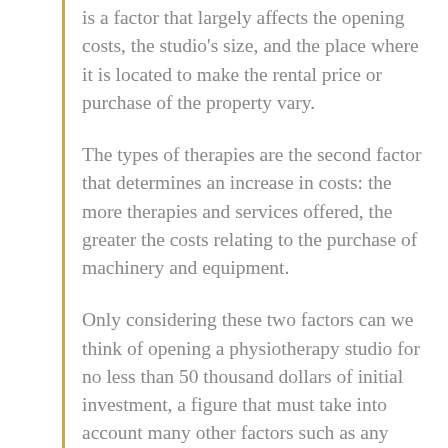is a factor that largely affects the opening costs, the studio's size, and the place where it is located to make the rental price or purchase of the property vary.
The types of therapies are the second factor that determines an increase in costs: the more therapies and services offered, the greater the costs relating to the purchase of machinery and equipment.
Only considering these two factors can we think of opening a physiotherapy studio for no less than 50 thousand dollars of initial investment, a figure that must take into account many other factors such as any salaries for additional staff, furnishings, utilities, taxes, advertising and